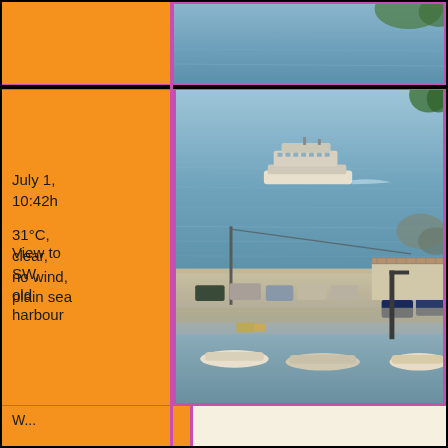[Figure (photo): Top strip: sea/water view]
July 1, 10:42h

31°C, clear, no wind, plain sea
[Figure (photo): Main photo: harbour scene with ferry on sea, boats moored at old harbour, cars parked on quay, view to SW]
View to SW, old harbour
W...